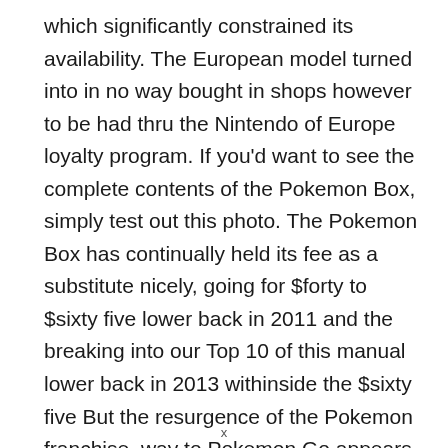which significantly constrained its availability. The European model turned into in no way bought in shops however to be had thru the Nintendo of Europe loyalty program. If you'd want to see the complete contents of the Pokemon Box, simply test out this photo. The Pokemon Box has continually held its fee as a substitute nicely, going for $forty to $sixty five lower back in 2011 and the breaking into our Top 10 of this manual lower back in 2013 withinside the $sixty five But the resurgence of the Pokemon franchise, way to Pokemon Go appears to virtually made a difference. Pokemon Go now has overwhelmed out a few robust opposition to pinnacle
x